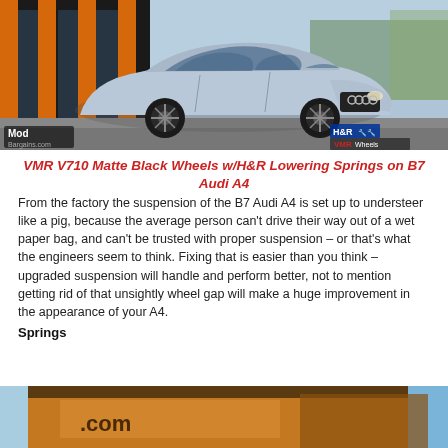[Figure (photo): Silver Audi A4 B7 with matte black VMR V710 wheels parked in front of a building with orange pillars. ModBargains.com logo bottom-left, H&R and VMR Wheels logos bottom-right.]
VMR V710 Matte Black Wheels w/H&R Lowering Springs on B7 Audi A4
From the factory the suspension of the B7 Audi A4 is set up to understeer like a pig, because the average person can't drive their way out of a wet paper bag, and can't be trusted with proper suspension – or that's what the engineers seem to think. Fixing that is easier than you think – upgraded suspension will handle and perform better, not to mention getting rid of that unsightly wheel gap will make a huge improvement in the appearance of your A4.
Springs
[Figure (photo): Partial bottom photo showing a building exterior with orange/brown facade and signage reading '.com', blue sky visible.]